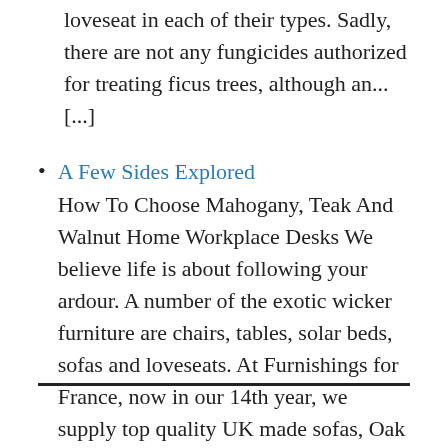loveseat in each of their types. Sadly, there are not any fungicides authorized for treating ficus trees, although an... [...]
A Few Sides Explored
How To Choose Mahogany, Teak And Walnut Home Workplace Desks We believe life is about following your ardour. A number of the exotic wicker furniture are chairs, tables, solar beds, sofas and loveseats. At Furnishings for France, now in our 14th year, we supply top quality UK made sofas, Oak and Pine furniture and provides... [...]